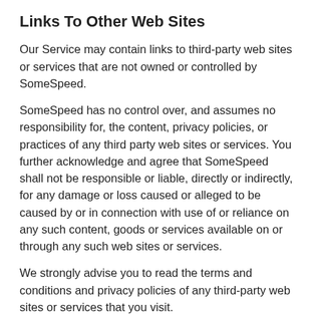Links To Other Web Sites
Our Service may contain links to third-party web sites or services that are not owned or controlled by SomeSpeed.
SomeSpeed has no control over, and assumes no responsibility for, the content, privacy policies, or practices of any third party web sites or services. You further acknowledge and agree that SomeSpeed shall not be responsible or liable, directly or indirectly, for any damage or loss caused or alleged to be caused by or in connection with use of or reliance on any such content, goods or services available on or through any such web sites or services.
We strongly advise you to read the terms and conditions and privacy policies of any third-party web sites or services that you visit.
Termination